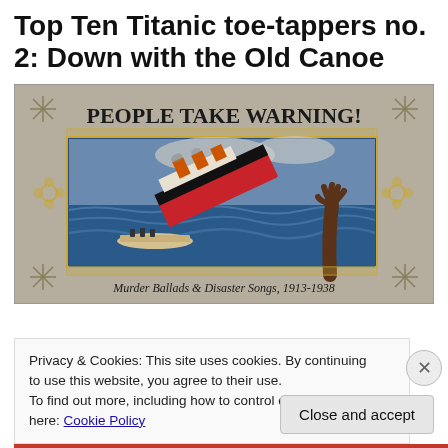Top Ten Titanic toe-tappers no. 2: Down with the Old Canoe
[Figure (illustration): Album cover for 'People Take Warning! Murder Ballads & Disaster Songs, 1913-1938' showing a sinking ship (Titanic) with a hand reaching out of the water, decorative border, and ornamental corner elements on a grey background.]
Privacy & Cookies: This site uses cookies. By continuing to use this website, you agree to their use.
To find out more, including how to control cookies, see here: Cookie Policy